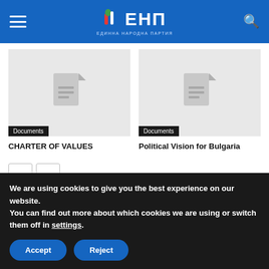ЕНП — ЕДИННА НАРОДНА ПАРТИЯ
[Figure (screenshot): Document thumbnail placeholder with grey background and document icon, tagged 'Documents']
CHARTER OF VALUES
[Figure (screenshot): Document thumbnail placeholder with grey background and document icon, tagged 'Documents']
Political Vision for Bulgaria
We are using cookies to give you the best experience on our website.
You can find out more about which cookies we are using or switch them off in settings.
Accept   Reject